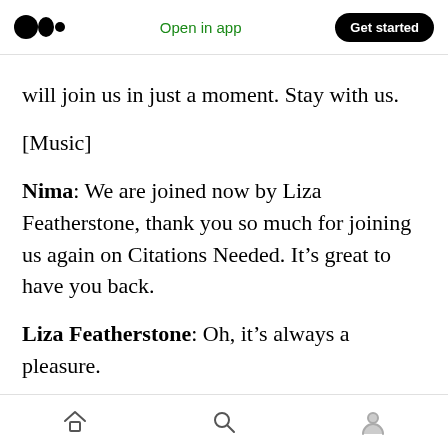Medium app header — Open in app | Get started
will join us in just a moment. Stay with us.
[Music]
Nima: We are joined now by Liza Featherstone, thank you so much for joining us again on Citations Needed. It’s great to have you back.
Liza Featherstone: Oh, it’s always a pleasure.
Adam: So we’ve been speaking about the advent of the personality test at the workplace for the better part of an hour, especially as a kind of pre-
Bottom navigation bar with home, search, and profile icons